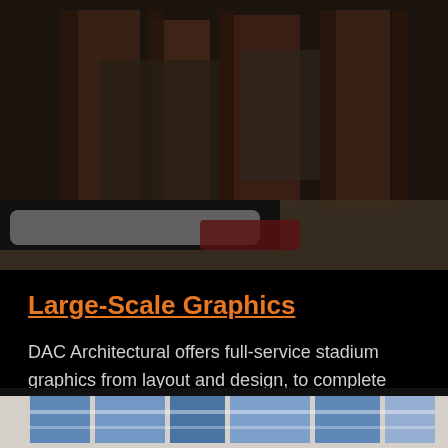[Figure (photo): Exterior photo of a brick building with bare trees and bushes, a white and red car visible in the foreground, taken in winter conditions.]
Large-Scale Graphics
DAC Architectural offers full-service stadium graphics from layout and design, to complete installation including customized framing and structural support where needed.
[Figure (photo): Partial bottom photo showing blue and white large-scale graphics or signage panels installed along a wall or structure.]